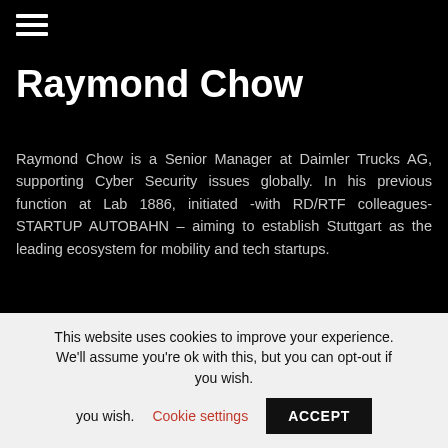≡
Raymond Chow
Raymond Chow is a Senior Manager at Daimler Trucks AG, supporting Cyber Security issues globally. In his previous function at Lab 1886, initiated -with RD/RTF colleagues- STARTUP AUTOBAHN – aiming to establish Stuttgart as the leading ecosystem for mobility and tech startups.
Being at different positions within Daimler, Raymond Chow's careerpath has a very global footprint about it. Starting as a trainee in Daimler Financial Services, he soon moved to Mercedes-Benz Financial Services Taiwan to work as a General
This website uses cookies to improve your experience. We'll assume you're ok with this, but you can opt-out if you wish. Cookie settings ACCEPT